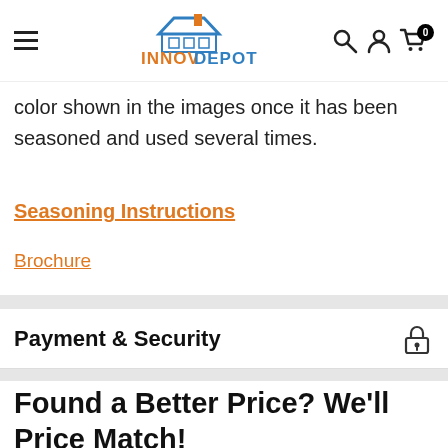INNOVDEPOT
color shown in the images once it has been seasoned and used several times.
Seasoning Instructions
Brochure
Payment & Security
Found a Better Price? We'll Price Match!